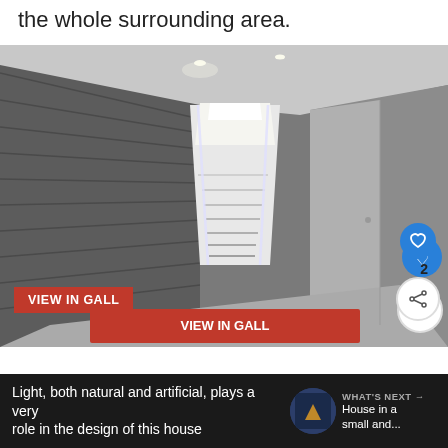the whole surrounding area.
[Figure (photo): Interior hallway with concrete walls and illuminated staircase leading upward, with recessed ceiling lights. Modern minimalist architecture.]
Light, both natural and artificial, plays a very important role in the design of this house